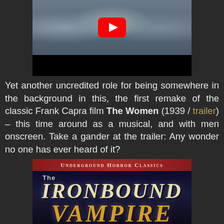[Figure (screenshot): YouTube video thumbnail showing men in suits/tuxedos playing instruments including an accordion, with a large red YouTube play button overlay. The bottom portion of the video player is black.]
Yet another uncredited role for being somewhere in the background in this, the first remake of the classic Frank Capra film The Women (1939 / trailer) – this time around as a musical, and with men onscreen. Take a gander at the trailer: Any wonder no one has ever heard of it?
[Figure (illustration): Movie poster for 'The Ironbound Vampire' from Underground Horror Classics series. Red banner at top with small-caps text 'Underground Horror Classics'. Large stylized title text 'THE IRONBOUND VAMPIRE' in golden/beige tones on a dark blue-black background.]